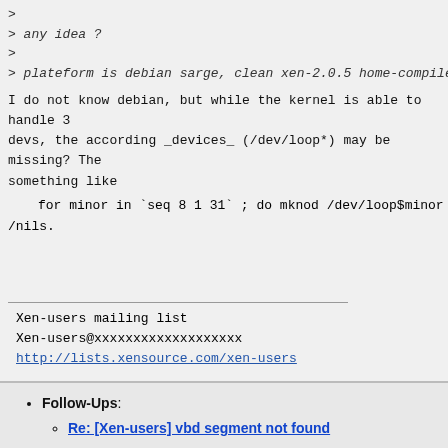>
> any idea ?
>
> plateform is debian sarge, clean xen-2.0.5 home-compiled
I do not know debian, but while the kernel is able to handle 3 devs, the according _devices_ (/dev/loop*) may be missing? The something like
for minor in `seq 8 1 31` ; do mknod /dev/loop$minor b 7 $mi
/nils.
Xen-users mailing list
Xen-users@xxxxxxxxxxxxxxxxxxx
http://lists.xensource.com/xen-users
Follow-Ups:
Re: [Xen-users] vbd segment not found
From: mlist
References: